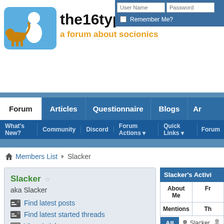the16types.info — a forum about socionics
[Figure (screenshot): Website header with logo icon (blue rounded square with white person icon and golden dog icon), site title 'the16types.info' and subtitle 'a forum about socionics' in orange]
[Figure (screenshot): Login form with User Name and Password input fields and Remember Me checkbox]
[Figure (screenshot): Navigation bar with tabs: Forum (active/white), Articles, Questionnaire, Blogs, Ar...]
[Figure (screenshot): Sub-navigation bar with: What's New?, Community, Discord, Forum Actions ▾, Quick Links ▾, Forum...]
Members List » Slacker
Slacker ○
aka Slacker
Find latest posts
Find latest started threads
View Articles
View Blog Entries
| Field | Value |
| --- | --- |
| Join Date: | 10-23-2005 |
| Avatar: | (image) |
[Figure (screenshot): Slacker's Activity panel with tabs: About Me, Fr..., Mentions, Th..., and filter row: All | Slacker icon]
[Figure (photo): User avatar photo of Asian man]
[Figure (photo): Grey placeholder avatar silhouette]
Subte... replied to Mach... Subte... proba...